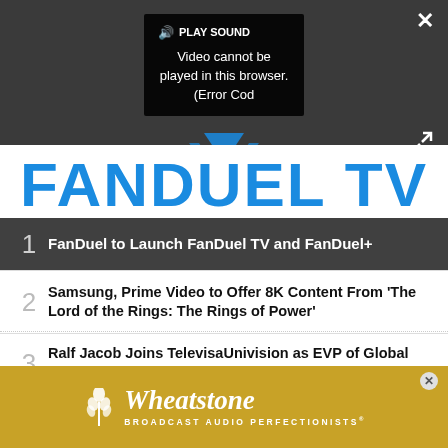[Figure (screenshot): Video player showing error popup 'Video cannot be played in this browser. (Error Cod' with PLAY SOUND button, close X, and expand icon on dark background]
[Figure (logo): FanDuel TV logo in large blue bold text]
1 FanDuel to Launch FanDuel TV and FanDuel+
2 Samsung, Prime Video to Offer 8K Content From 'The Lord of the Rings: The Rings of Power'
3 Ralf Jacob Joins TelevisaUnivision as EVP of Global Broadcast Engineering
[Figure (logo): Wheatstone Broadcast Audio Perfectionists advertisement banner in gold/yellow background]